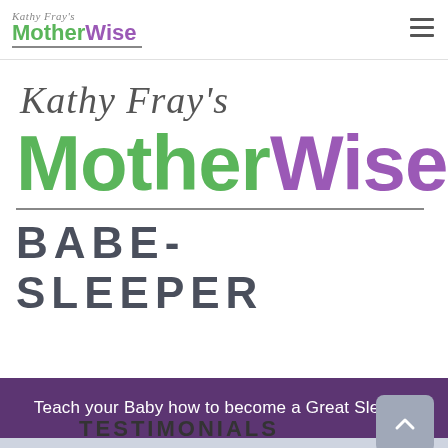[Figure (logo): Kathy Fray's MotherWise navigation bar logo with small script text and green/purple colored MotherWise text with underline, plus hamburger menu icon on right]
[Figure (logo): Large Kathy Fray's MotherWise Babe-Sleeper logo. Cursive italic 'Kathy Fray's' in gray above large 'MotherWise' text with 'Mother' in green and 'Wise' in purple, followed by a horizontal rule and 'BABE-SLEEPER' in dark gray bold spaced capitals]
Teach your Baby how to become a Great Sleeper
TESTIMONIALS